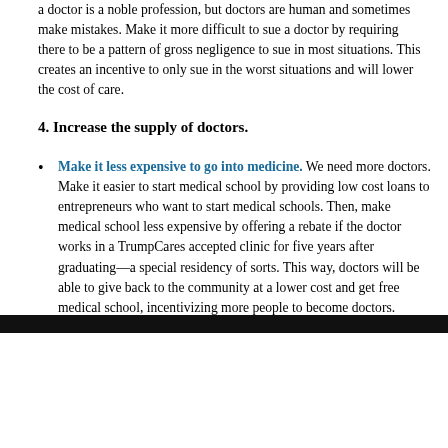a doctor is a noble profession, but doctors are human and sometimes make mistakes. Make it more difficult to sue a doctor by requiring there to be a pattern of gross negligence to sue in most situations. This creates an incentive to only sue in the worst situations and will lower the cost of care.
4. Increase the supply of doctors.
Make it less expensive to go into medicine. We need more doctors. Make it easier to start medical school by providing low cost loans to entrepreneurs who want to start medical schools. Then, make medical school less expensive by offering a rebate if the doctor works in a TrumpCares accepted clinic for five years after graduating—a special residency of sorts. This way, doctors will be able to give back to the community at a lower cost and get free medical school, incentivizing more people to become doctors.